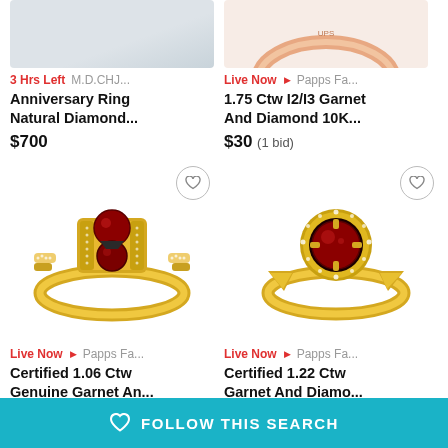[Figure (photo): Partial top of anniversary ring product image, gray background]
[Figure (photo): Partial top of garnet ring on rose gold band, pink/peach background]
3 Hrs Left  M.D.CHJ...
Live Now ▶  Papps Fa...
Anniversary Ring Natural Diamond...
1.75 Ctw I2/I3 Garnet And Diamond 10K...
$700
$30 (1 bid)
[Figure (photo): Yellow gold ring with two red garnet stones and diamond accents on band]
[Figure (photo): Yellow gold ring with single large red garnet center stone surrounded by diamond halo]
Live Now ▶  Papps Fa...
Live Now ▶  Papps Fa...
Certified 1.06 Ctw Genuine Garnet An...
Certified 1.22 Ctw Garnet And Diamo...
$30
♡  FOLLOW THIS SEARCH